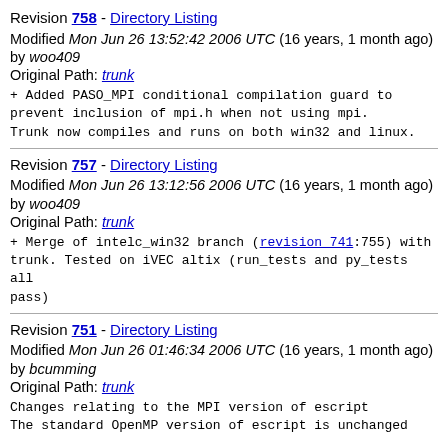Revision 758 - Directory Listing
Modified Mon Jun 26 13:52:42 2006 UTC (16 years, 1 month ago) by woo409
Original Path: trunk
+ Added PASO_MPI conditional compilation guard to prevent inclusion of mpi.h when not using mpi.
Trunk now compiles and runs on both win32 and linux.
Revision 757 - Directory Listing
Modified Mon Jun 26 13:12:56 2006 UTC (16 years, 1 month ago) by woo409
Original Path: trunk
+ Merge of intelc_win32 branch (revision 741:755) with trunk. Tested on iVEC altix (run_tests and py_tests all pass)
Revision 751 - Directory Listing
Modified Mon Jun 26 01:46:34 2006 UTC (16 years, 1 month ago) by bcumming
Original Path: trunk
Changes relating to the MPI version of escript
The standard OpenMP version of escript is unchanged